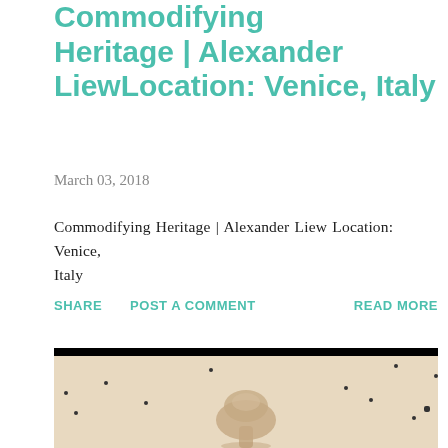Commodifying Heritage | Alexander LiewLocation: Venice, Italy
March 03, 2018
Commodifying Heritage  |  Alexander Liew Location: Venice, Italy
SHARE   POST A COMMENT   READ MORE
[Figure (photo): A scanned or aged image on pale/beige background with a mushroom cloud shape in the center, black border at top, scattered small dark dots across the image area.]